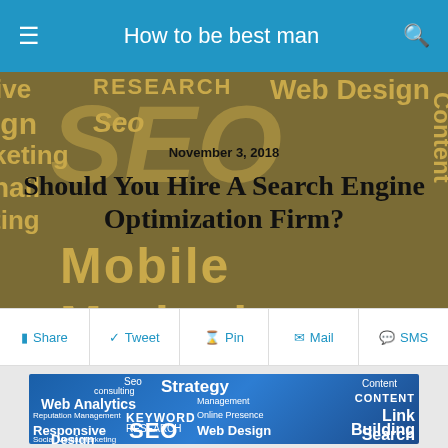How to be best man
[Figure (photo): SEO word cloud background image with terms like RESEARCH, Web Design, Mobile Marketing, Seo, Content overlaid with article title and date]
November 3, 2018
Should You Hire A Search Engine Optimization Firm?
Share | Tweet | Pin | Mail | SMS
[Figure (photo): Blue background SEO word cloud with terms: Seo, consulting, Strategy, Content, Web Analytics, Management, CONTENT, Reputation Management, KEYWORD, Online Presence, Link, Responsive, Seo, RESEARCH, Web Design, Building, Design, Social Media Marketing, SEO, Search, Engine]